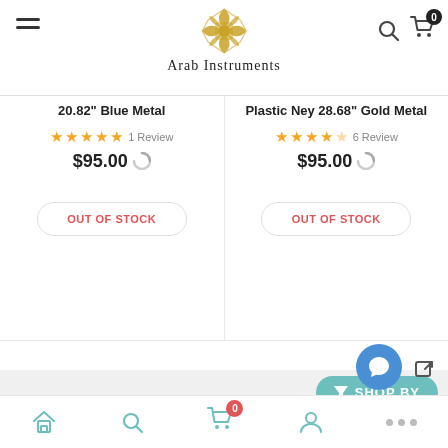[Figure (screenshot): Arab Instruments e-commerce website header with hamburger menu, ornate gold logo, search and cart icons]
20.82" Blue Metal
★★★★★ 1 Review $95.00 OUT OF STOCK
Plastic Ney 28.68" Gold Metal
★★★★☆ 6 Review $95.00 OUT OF STOCK
SHOP BY
Search Brands